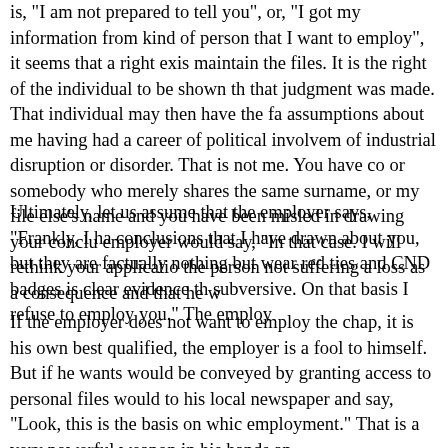is, "I am not prepared to tell you", or, "I got my information from kind of person that I want to employ", it seems that a right exis maintain the files. It is the right of the individual to be shown th that judgment was made. That individual may then have the fa assumptions about me having had a career of political involvem of industrial disruption or disorder. That is not me. You have co or somebody who merely shares the same surname, or my file else's name and you have been misled in drawing your conclu employer would say, "In that case. I will rethink your applicatio the person not suffering a loss as a consequence and that he w
Ultimately, let us assume that the employer says, "Frankly, I ha conclusions that I have drawn about you, but they are factually nothing but wear red ties and CND badges is clear evidence th subversive. On that basis I refuse to employ you." The employ
If the employer does not want to employ the chap, it is his own best qualified, the employer is a fool to himself. But if he wants would be conveyed by granting access to personal files would to his local newspaper and say, "Look, this is the basis on whic employment." That is a very powerful weapon in his hands an